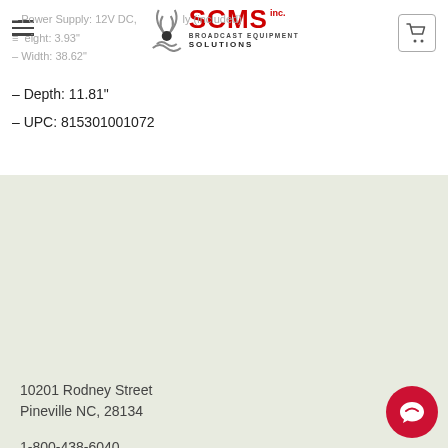SCMS Inc. Broadcast Equipment Solutions
– Power Supply: 12V DC, supply (included)
– Height: 3.93"
– Width: 38.62"
– Depth: 11.81"
– UPC: 815301001072
10201 Rodney Street
Pineville NC, 28134
1-800-438-6040
Viagra Where To Buy Purchase Diclofenac Topical Gel Buy Bactrim From India Buy Clobetasol Propionate Pills Is It Safe To Buy Suhagra Force No Prescription
Credit Application